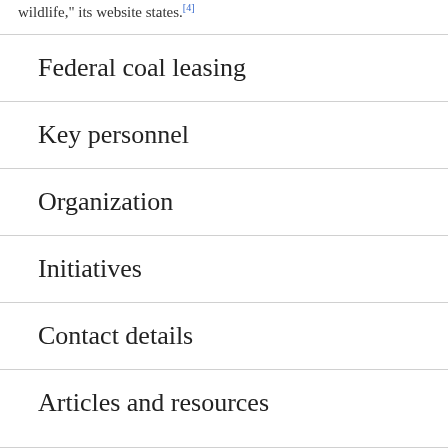wildlife," its website states.[4]
Federal coal leasing
Key personnel
Organization
Initiatives
Contact details
Articles and resources